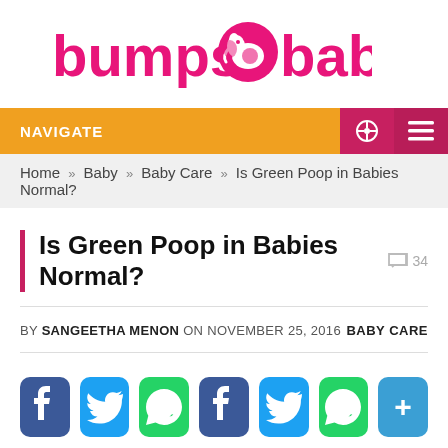[Figure (logo): Bumps n Baby logo in pink/magenta color with elephant icon]
NAVIGATE
Home » Baby » Baby Care » Is Green Poop in Babies Normal?
Is Green Poop in Babies Normal?
BY SANGEETHA MENON ON NOVEMBER 25, 2016   BABY CARE
[Figure (infographic): Social share buttons: Facebook, Twitter, WhatsApp, Facebook, Twitter, WhatsApp, More (+)]